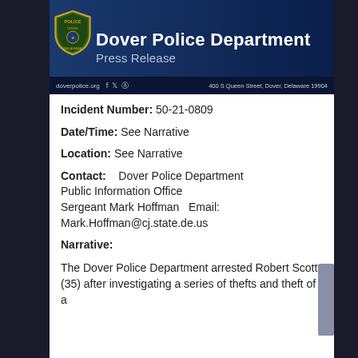[Figure (logo): Dover Police Department Press Release banner header with shield badge logo, dark blue gradient background, social media icons, and address 400 S Queen Street, Dover, Delaware 19904]
Incident Number: 50-21-0809
Date/Time: See Narrative
Location: See Narrative
Contact:   Dover Police Department Public Information Office Sergeant Mark Hoffman   Email: Mark.Hoffman@cj.state.de.us
Narrative:
The Dover Police Department arrested Robert Scott (35) after investigating a series of thefts and...